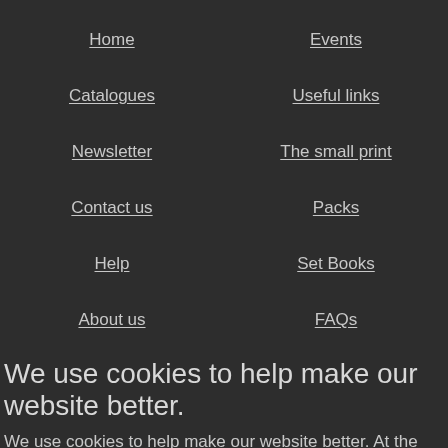Home
Events
Catalogues
Useful links
Newsletter
The small print
Contact us
Packs
Help
Set Books
About us
FAQs
We use cookies to help make our website better.
We use cookies to help make our website better. At the moment, your preferences allow us to use cookies. If you are happy with this please click here or simply continue to use our website. Otherwise find out more and amend your preferences here.